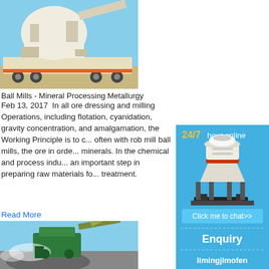[Figure (photo): Large industrial crusher/ball mill mounted on a truck trailer, beige/cream colored machinery on a sunny day]
Ball Mills - Mineral Processing Metallurgy
Feb 13, 2017  In all ore dressing and milling Operations, including flotation, cyanidation, gravity concentration, and amalgamation, the Working Principle is to c... often with rob mill ball mills, the ore in orde... minerals. In the chemical and process indu... an important step in preparing raw materials fo... treatment.
Read More
[Figure (photo): Industrial crushing machine processing rocks/minerals, with dust cloud visible, excavator arm visible in background]
[Figure (infographic): Blue sidebar advertisement: 24/7 hour online with cone crusher image, Click me to chat>> button, Enquiry section, limingjlmofen text]